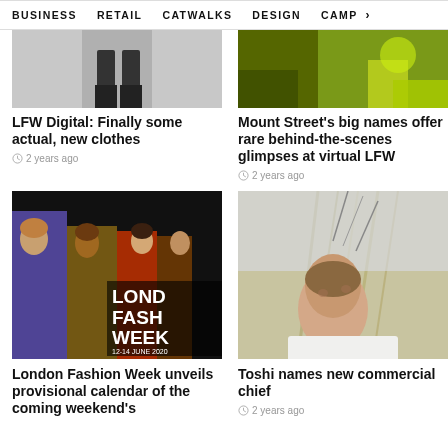BUSINESS   RETAIL   CATWALKS   DESIGN   CAMP >
[Figure (photo): Fashion photo showing legs/boots in grey tones, top portion of article image]
LFW Digital: Finally some actual, new clothes
2 years ago
[Figure (photo): Fashion photo showing yellow/lime green outfit detail, top portion of article image]
Mount Street's big names offer rare behind-the-scenes glimpses at virtual LFW
2 years ago
[Figure (photo): London Fashion Week 12-14 June 2020 promotional image with models in brown and colorful outfits]
London Fashion Week unveils provisional calendar of the coming weekend's
[Figure (photo): Woman looking upward with artistic feather/grass detail, fashion editorial photo]
Toshi names new commercial chief
2 years ago